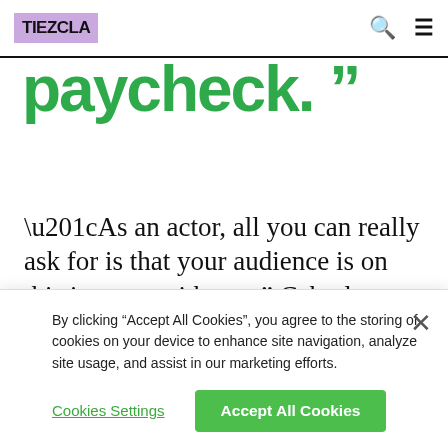REMEZCLA
paycheck. ””
“As an actor, all you can really ask for is that your audience is on this journey with you,” Cabral says. “Now, we are here with this drug addiction and the audience is with me. When [Mayans M.C.] creators said we were going to go down this road, I was willing to
By clicking “Accept All Cookies”, you agree to the storing of cookies on your device to enhance site navigation, analyze site usage, and assist in our marketing efforts.
Cookies Settings
Accept All Cookies